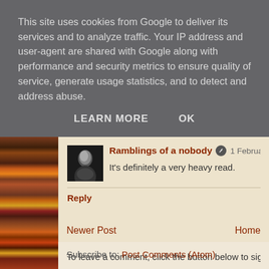This site uses cookies from Google to deliver its services and to analyze traffic. Your IP address and user-agent are shared with Google along with performance and security metrics to ensure quality of service, generate usage statistics, and to detect and address abuse.
LEARN MORE    OK
Ramblings of a nobody  1 February 2022 a
It's definitely a very heavy read.
Reply
To leave a comment, click the button below to sign i
SIGN IN WITH GOOGLE
Newer Post
Home
Subscribe to: Post Comments (Atom)